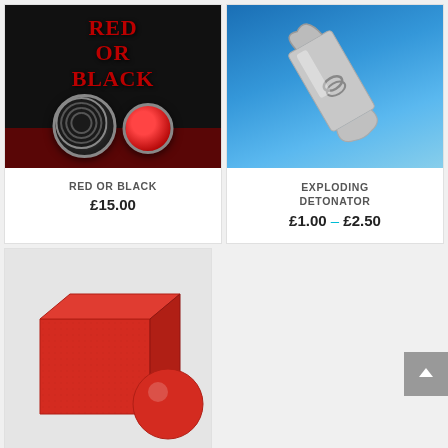[Figure (photo): Red Or Black magic product card showing a black background with red text 'RED OR BLACK' and two discs - one with a spiral pattern and one red disc]
RED OR BLACK
£15.00
[Figure (photo): Exploding Detonator magic product card showing a metal spring-clip detonator against a blue sky background]
EXPLODING DETONATOR
£1.00 – £2.50
[Figure (photo): Red foam cube and red foam ball magic props on a light grey background]